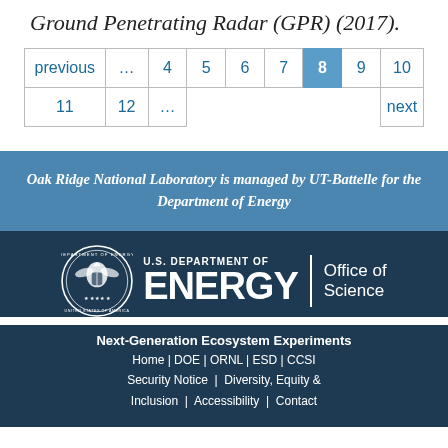Ground Penetrating Radar (GPR) (2017).
| previous | ... | 4 | 5 | 6 | 7 | 8 | 9 | 10 |
| 11 | 12 | ... |  |  |  |  |  | next |
Oak Ridge National Laboratory is managed by UT-Battelle for the Department of Energy
[Figure (logo): U.S. Department of Energy Office of Science seal and wordmark logo]
Next-Generation Ecosystem Experiments
Home | DOE | ORNL | ESD | CCSI
Security Notice | Diversity, Equity & Inclusion | Accessibility | Contact